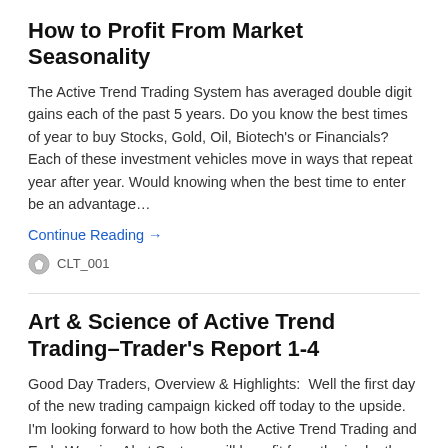How to Profit From Market Seasonality
The Active Trend Trading System has averaged double digit gains each of the past 5 years. Do you know the best times of year to buy Stocks, Gold, Oil, Biotech's or Financials?  Each of these investment vehicles move in ways that repeat year after year. Would knowing when the best time to enter be an advantage…
Continue Reading →
CLT_001
Art & Science of Active Trend Trading–Trader's Report 1-4
Good Day Traders, Overview & Highlights:  Well the first day of the new trading campaign kicked off today to the upside.  I'm looking forward to how both the Active Trend Trading and Early Warning Alert Systems will benefit from the in-depth analysis we conducted during the month of November and December.  The yearend summary of...